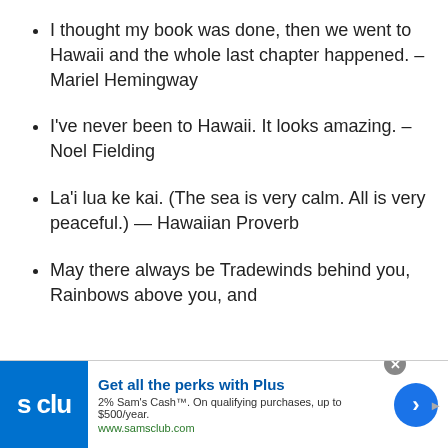I thought my book was done, then we went to Hawaii and the whole last chapter happened. – Mariel Hemingway
I’ve never been to Hawaii. It looks amazing. – Noel Fielding
La’i lua ke kai. (The sea is very calm. All is very peaceful.) — Hawaiian Proverb
May there always be Tradewinds behind you, Rainbows above you, and